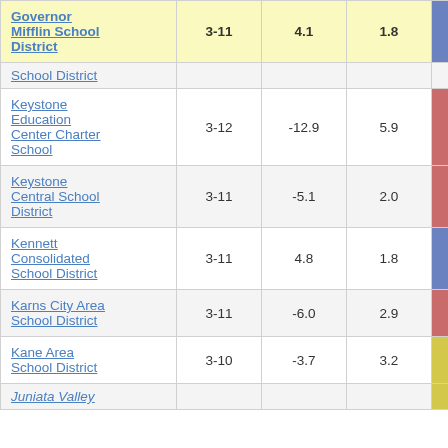| School District | Grades | Col3 | Col4 | Score |
| --- | --- | --- | --- | --- |
| Governor Mifflin School District | 3-11 | 4.1 | 1.8 | 2.33 |
| School District (partial) |  |  |  |  |
| Keystone Education Center Charter School | 3-12 | -12.9 | 5.9 | -2.19 |
| Keystone Central School District | 3-11 | -5.1 | 2.0 | -2.46 |
| Kennett Consolidated School District | 3-11 | 4.8 | 1.8 | 2.61 |
| Karns City Area School District | 3-11 | -6.0 | 2.9 | -2.03 |
| Kane Area School District | 3-10 | -3.7 | 3.2 | -1.17 |
| Juniata Valley (partial) |  |  |  |  |